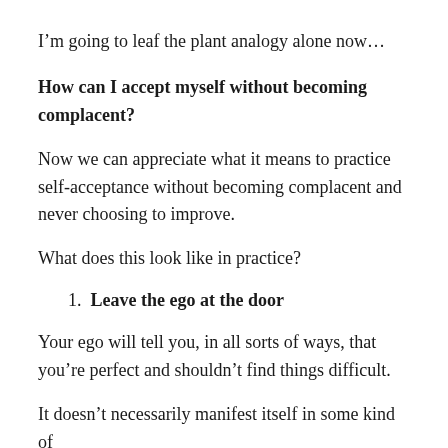I’m going to leaf the plant analogy alone now…
How can I accept myself without becoming complacent?
Now we can appreciate what it means to practice self-acceptance without becoming complacent and never choosing to improve.
What does this look like in practice?
1. Leave the ego at the door
Your ego will tell you, in all sorts of ways, that you’re perfect and shouldn’t find things difficult.
It doesn’t necessarily manifest itself in some kind of